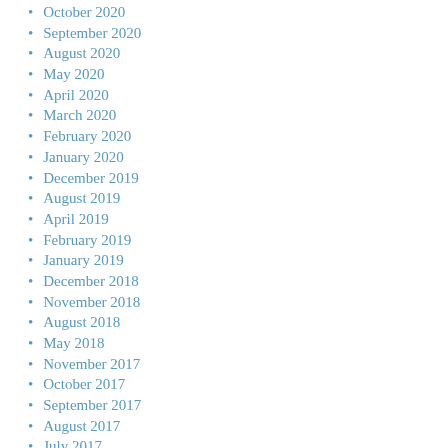October 2020
September 2020
August 2020
May 2020
April 2020
March 2020
February 2020
January 2020
December 2019
August 2019
April 2019
February 2019
January 2019
December 2018
November 2018
August 2018
May 2018
November 2017
October 2017
September 2017
August 2017
July 2017
June 2017
May 2017
March 2017
December 2016
November 2016